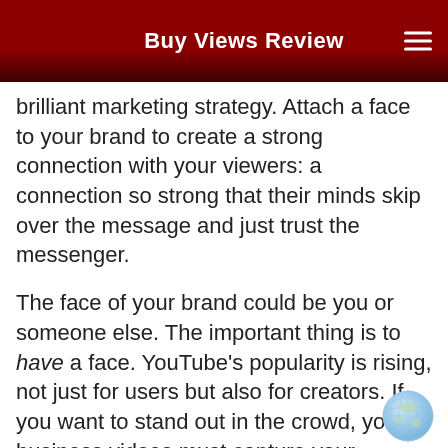Buy Views Review
brilliant marketing strategy. Attach a face to your brand to create a strong connection with your viewers: a connection so strong that their minds skip over the message and just trust the messenger.
The face of your brand could be you or someone else. The important thing is to have a face. YouTube’s popularity is rising, not just for users but also for creators. If you want to stand out in the crowd, your business videos must capture your viewers’ attention and keep it.
[Figure (illustration): Globe icon in blue/white tones positioned at bottom right]